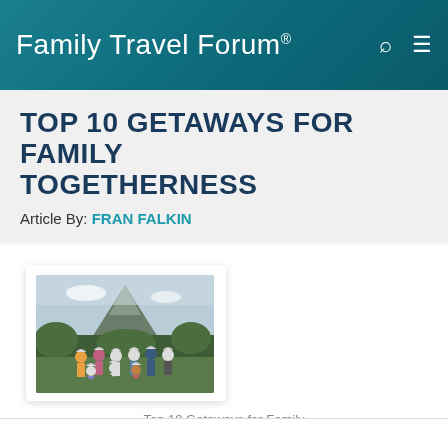Family Travel Forum®
TOP 10 GETAWAYS FOR FAMILY TOGETHERNESS
Article By: FRAN FALKIN
[Figure (photo): Group of people wearing helmets and harnesses posing outdoors with a volcanic mountain in the background, suggesting a zip-line or adventure tourism activity.]
Top 10 Getaways for Family Togetherness